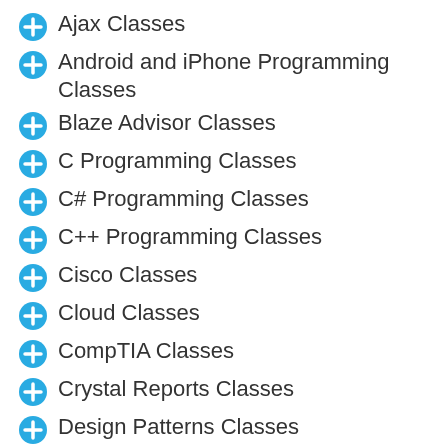Ajax Classes
Android and iPhone Programming Classes
Blaze Advisor Classes
C Programming Classes
C# Programming Classes
C++ Programming Classes
Cisco Classes
Cloud Classes
CompTIA Classes
Crystal Reports Classes
Design Patterns Classes
DevOps Classes
Foundations of Web Design &